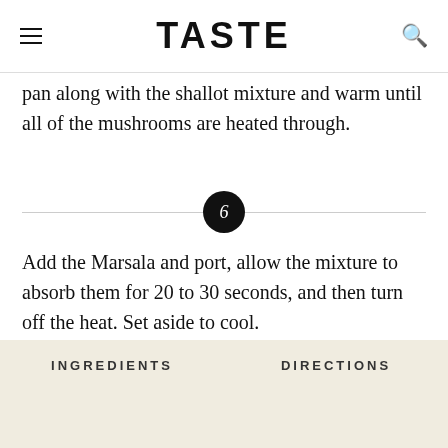TASTE
pan along with the shallot mixture and warm until all of the mushrooms are heated through.
6
Add the Marsala and port, allow the mixture to absorb them for 20 to 30 seconds, and then turn off the heat. Set aside to cool.
7
In a small saucepan, melt the remaining 4
INGREDIENTS   DIRECTIONS